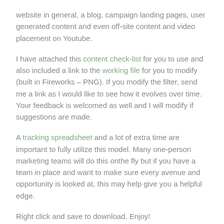website in general, a blog, campaign landing pages, user generated content and even off-site content and video placement on Youtube.
I have attached this content check-list for you to use and also included a link to the working file for you to modify (built in Fireworks – PNG). If you modify the filter, send me a link as I would like to see how it evolves over time. Your feedback is welcomed as well and I will modify if suggestions are made.
A tracking spreadsheet and a lot of extra time are important to fully utilize this model. Many one-person marketing teams will do this onthe fly but if you have a team in place and want to make sure every avenue and opportunity is looked at, this may help give you a helpful edge.
Right click and save to download. Enjoy!